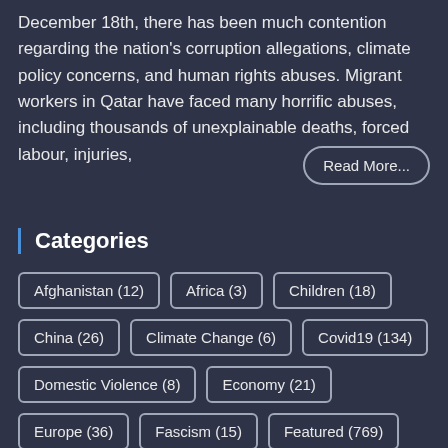December 18th, there has been much contention regarding the nation's corruption allegations, climate policy concerns, and human rights abuses. Migrant workers in Qatar have faced many horrific abuses, including thousands of unexplainable deaths, forced labour, injuries, Read More...
Categories
Afghanistan (12)
Africa (3)
Children (18)
China (26)
Climate Change (6)
Covid19 (134)
Domestic Violence (8)
Economy (21)
Europe (36)
Fascism (15)
Featured (769)